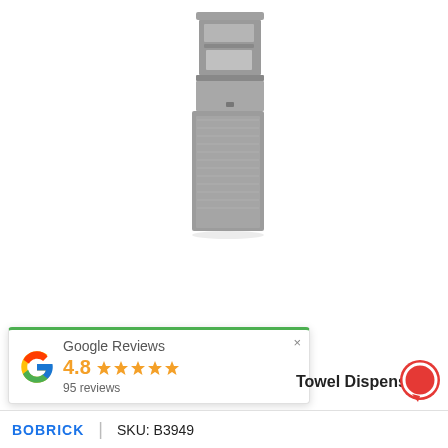[Figure (photo): Stainless steel combination paper towel dispenser and waste receptacle unit mounted vertically, with brushed metallic finish]
Google Reviews
4.8 ★★★★★
95 reviews
Towel Dispens
BOBRICK  |  SKU: B3949